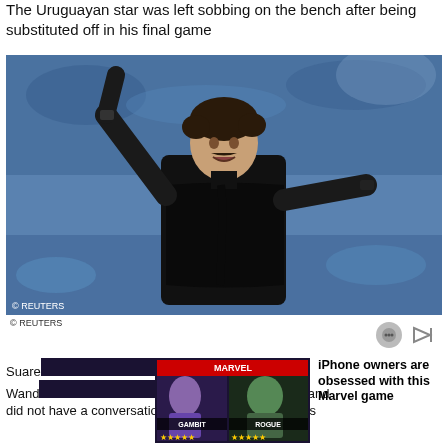The Uruguayan star was left sobbing on the bench after being substituted off in his final game
[Figure (photo): A man in a black jacket gesturing with both hands raised on a sports sideline, crowd visible in background. Reuters photo credit shown.]
© REUTERS
[Figure (screenshot): Marvel game advertisement showing Gambit and Rogue characters with text: iPhone owners are obsessed with this Marvel game]
Suare... ld have liked to stay at the Wand... t was shown the exit door and did not have a conversation about his future with boss